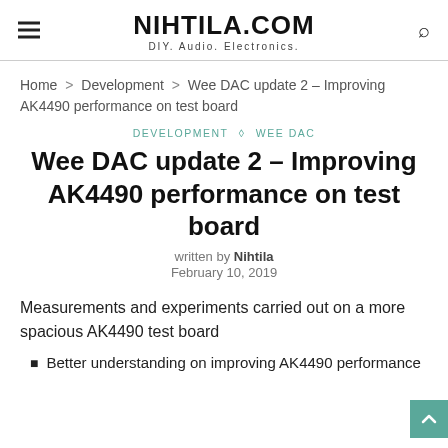NIHTILA.COM DIY. Audio. Electronics.
Home > Development > Wee DAC update 2 – Improving AK4490 performance on test board
DEVELOPMENT ◇ WEE DAC
Wee DAC update 2 – Improving AK4490 performance on test board
written by Nihtila
February 10, 2019
Measurements and experiments carried out on a more spacious AK4490 test board
Better understanding on improving AK4490 performance